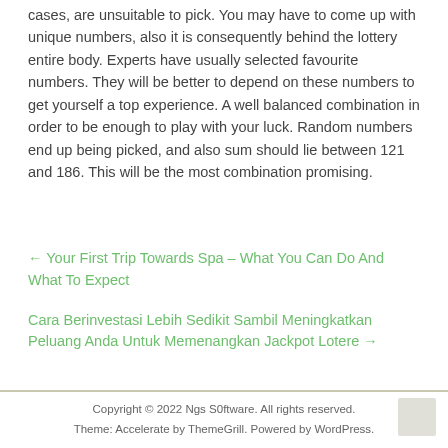cases, are unsuitable to pick. You may have to come up with unique numbers, also it is consequently behind the lottery entire body. Experts have usually selected favourite numbers. They will be better to depend on these numbers to get yourself a top experience. A well balanced combination in order to be enough to play with your luck. Random numbers end up being picked, and also sum should lie between 121 and 186. This will be the most combination promising.
← Your First Trip Towards Spa – What You Can Do And What To Expect
Cara Berinvestasi Lebih Sedikit Sambil Meningkatkan Peluang Anda Untuk Memenangkan Jackpot Lotere →
Copyright © 2022 Ngs S0ftware. All rights reserved.
Theme: Accelerate by ThemeGrill. Powered by WordPress.